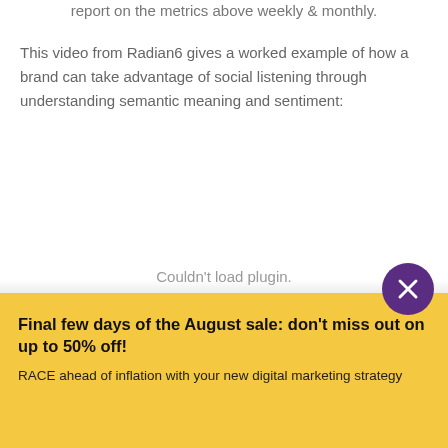report on the metrics above weekly & monthly.
This video from Radian6 gives a worked example of how a brand can take advantage of social listening through understanding semantic meaning and sentiment:
[Figure (other): Embedded video plugin area showing 'Couldn't load plugin.' error message]
Final few days of the August sale: don't miss out on up to 50% off!
RACE ahead of inflation with your new digital marketing strategy